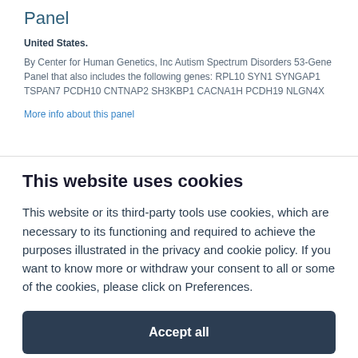Panel
United States.
By Center for Human Genetics, Inc Autism Spectrum Disorders 53-Gene Panel that also includes the following genes: RPL10 SYN1 SYNGAP1 TSPAN7 PCDH10 CNTNAP2 SH3KBP1 CACNA1H PCDH19 NLGN4X
More info about this panel
This website uses cookies
This website or its third-party tools use cookies, which are necessary to its functioning and required to achieve the purposes illustrated in the privacy and cookie policy. If you want to know more or withdraw your consent to all or some of the cookies, please click on Preferences.
Accept all
Preferences